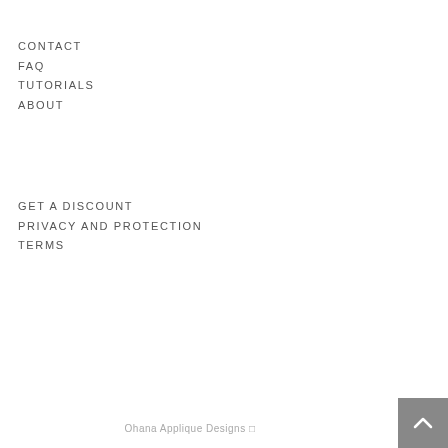CONTACT
FAQ
TUTORIALS
ABOUT
GET A DISCOUNT
PRIVACY AND PROTECTION
TERMS
Ohana Applique Designs □